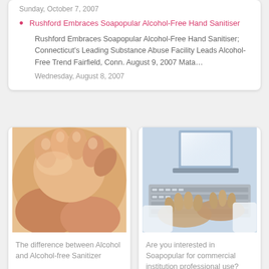Sunday, October 7, 2007
Rushford Embraces Soapopular Alcohol-Free Hand Sanitiser
Rushford Embraces Soapopular Alcohol-Free Hand Sanitiser; Connecticut's Leading Substance Abuse Facility Leads Alcohol-Free Trend Fairfield, Conn. August 9, 2007 Mata…
Wednesday, August 8, 2007
[Figure (photo): Close-up photo of adult hands holding a baby's feet/hands, warm skin tones]
The difference between Alcohol and Alcohol-free Sanitizer
[Figure (photo): Person typing on a keyboard with another monitor/laptop visible, professional office setting]
Are you interested in Soapopular for commercial institution professional use?